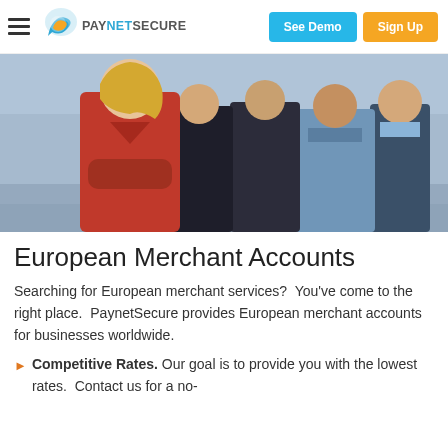PAYNETSECURE — See Demo | Sign Up
[Figure (photo): Business team of professionals standing with arms crossed in a corporate setting, woman in red in front.]
European Merchant Accounts
Searching for European merchant services?  You've come to the right place.  PaynetSecure provides European merchant accounts for businesses worldwide.
Competitive Rates. Our goal is to provide you with the lowest rates.  Contact us for a no-